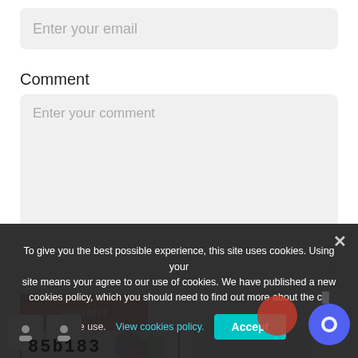Enter your email
Comment
Enter your comment
Captcha
[Figure (other): Captcha image showing text '85b183' with overlapping colored circles (blue, red/orange, green)]
SUBMIT
To give you the best possible experience, this site uses cookies. Using your site means your agree to our use of cookies. We have published a new cookies policy, which you should need to find out more about the cookies we use. View cookies policy.
Accept